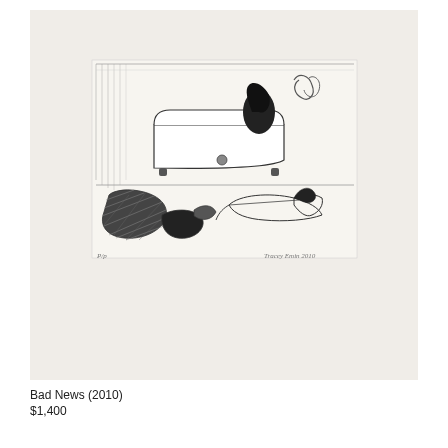[Figure (illustration): A black and white etching/print showing a scene with a bathtub in the center background, a figure lying on the floor in the foreground right, and dark crosshatched forms on the left. The room setting has sketchy lines suggesting walls. Small signature and number text in lower corners of the print. The print is mounted on light cream/off-white paper mat.]
Bad News (2010)
$1,400